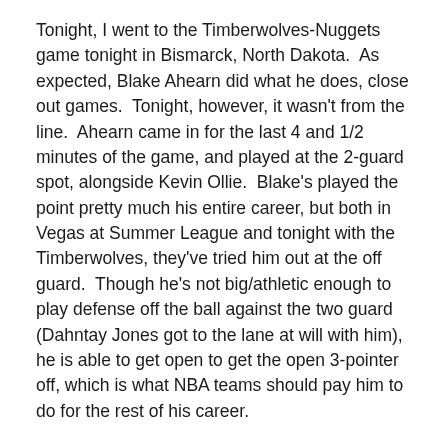Tonight, I went to the Timberwolves-Nuggets game tonight in Bismarck, North Dakota.  As expected, Blake Ahearn did what he does, close out games.  Tonight, however, it wasn't from the line.  Ahearn came in for the last 4 and 1/2 minutes of the game, and played at the 2-guard spot, alongside Kevin Ollie.  Blake's played the point pretty much his entire career, but both in Vegas at Summer League and tonight with the Timberwolves, they've tried him out at the off guard.  Though he's not big/athletic enough to play defense off the ball against the two guard (Dahntay Jones got to the lane at will with him), he is able to get open to get the open 3-pointer off, which is what NBA teams should pay him to do for the rest of his career.